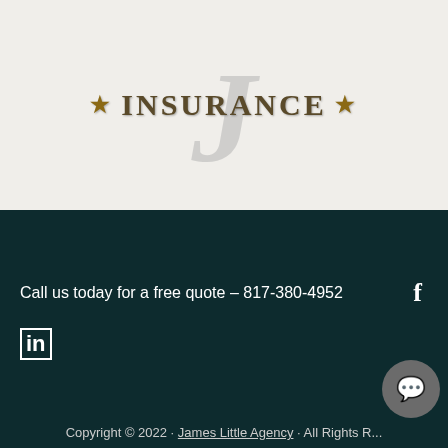[Figure (logo): James Little Insurance Agency logo with large italic J in background and INSURANCE text with gold stars]
Call us today for a free quote – 817-380-4952
[Figure (other): Facebook icon (f) in white]
[Figure (other): LinkedIn icon (in) in white]
Copyright © 2022 · James Little Agency · All Rights Reserved